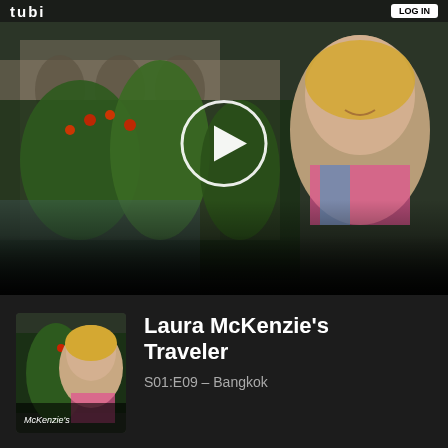[Figure (screenshot): Video streaming app screenshot showing a travel show thumbnail. The top portion shows a video thumbnail with a woman (Laura McKenzie) smiling outdoors near a fountain and garden with red flowers and green plants. A circular play button is overlaid in the center. The bottom portion shows a dark panel with a small show thumbnail on the left and text on the right reading 'Laura McKenzie's Traveler' with episode info 'S01:E09 - Bangkok'.]
Laura McKenzie's Traveler
S01:E09 - Bangkok